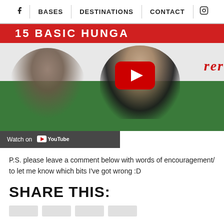f  BASES  DESTINATIONS  CONTACT  [instagram icon]
[Figure (screenshot): YouTube video thumbnail showing two people sitting in front of a Hungarian flag. A red banner at the top reads '15 BASIC HUNGA...' and a YouTube play button overlay is shown in the center. At the bottom left is a 'Watch on YouTube' overlay.]
P.S. please leave a comment below with words of encouragement/ to let me know which bits I've got wrong :D
SHARE THIS: